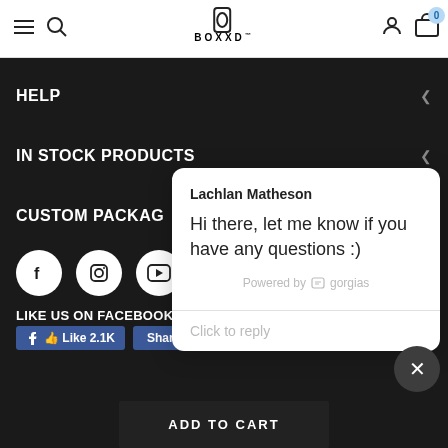BOXXD navigation header with logo, search, user icon, and cart (0)
HELP
IN STOCK PRODUCTS
CUSTOM PACKAG...
[Figure (screenshot): Chat popup from Lachlan Matheson saying 'Hi there, let me know if you have any questions :)' powered by gorgias, with a 'Click to reply' field]
LIKE US ON FACEBOOK
[Figure (screenshot): Facebook Like (2.1K) and Share buttons]
ADD TO CART